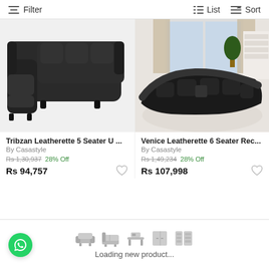Filter   List   Sort
[Figure (photo): Black leatherette L-shaped sectional sofa recliner on white background]
[Figure (photo): Black leatherette 6-seater curved recliner sofa in a living room setting]
Tribzan Leatherette 5 Seater U ...
By Casastyle
Rs 1,30,937 28% Off
Rs 94,757
Venice Leatherette 6 Seater Rec...
By Casastyle
Rs 1,49,234 28% Off
Rs 107,998
Loading new product...